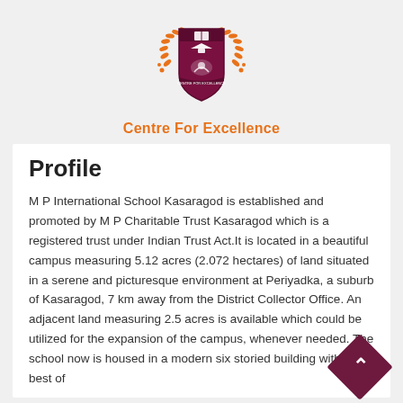[Figure (logo): Centre For Excellence school crest/shield logo with laurel wreath in orange, maroon shield with graduation cap and book symbols, and orange text 'Centre For Excellence' below]
Profile
M P International School Kasaragod is established and promoted by M P Charitable Trust Kasaragod which is a registered trust under Indian Trust Act.It is located in a beautiful campus measuring 5.12 acres (2.072 hectares) of land situated in a serene and picturesque environment at Periyadka, a suburb of Kasaragod, 7 km away from the District Collector Office. An adjacent land measuring 2.5 acres is available which could be utilized for the expansion of the campus, whenever needed. The school now is housed in a modern six storied building with the best of